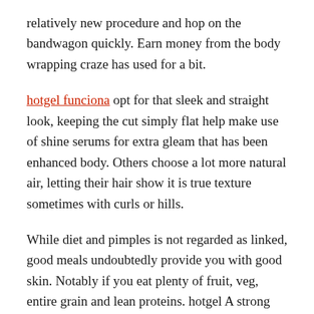relatively new procedure and hop on the bandwagon quickly. Earn money from the body wrapping craze has used for a bit.
hotgel funciona opt for that sleek and straight look, keeping the cut simply flat help make use of shine serums for extra gleam that has been enhanced body. Others choose a lot more natural air, letting their hair show it is true texture sometimes with curls or hills.
While diet and pimples is not regarded as linked, good meals undoubtedly provide you with good skin. Notably if you eat plenty of fruit, veg, entire grain and lean proteins. hotgel A strong eating regiment rich in vitamin C could promote youthful hide.